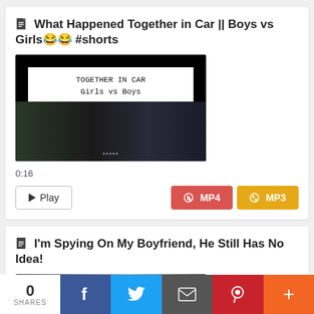What Happened Together in Car || Boys vs Girls😂😂 #shorts
[Figure (screenshot): Video thumbnail showing text 'TOGETHER IN CAR Girls vs Boys' over a dark photo of people in a car]
0:16
▶ Play   ⬇ MP4   ⬇ MP3
I'm Spying On My Boyfriend, He Still Has No Idea!
[Figure (screenshot): Partially visible video thumbnail]
0 SHARES  f  🐦  ✉  P  +